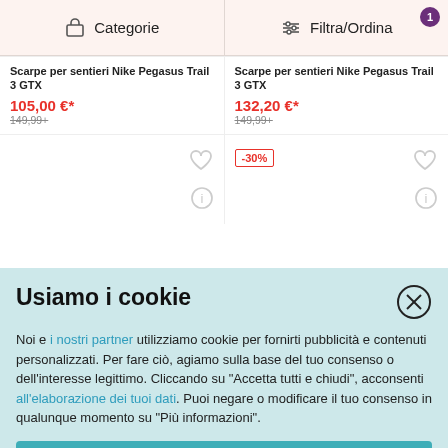Categorie | Filtra/Ordina
Scarpe per sentieri Nike Pegasus Trail 3 GTX
105,00 €*
149,99+
Scarpe per sentieri Nike Pegasus Trail 3 GTX
132,20 €*
149,99+
[Figure (screenshot): Product card area with heart and info icons; left card empty, right card has -30% discount badge]
Usiamo i cookie
Noi e i nostri partner utilizziamo cookie per fornirti pubblicità e contenuti personalizzati. Per fare ciò, agiamo sulla base del tuo consenso o dell'interesse legittimo. Cliccando su "Accetta tutti e chiudi", acconsenti all'elaborazione dei tuoi dati. Puoi negare o modificare il tuo consenso in qualunque momento su "Più informazioni".
Accetta tutti e chiudi
Più informazioni